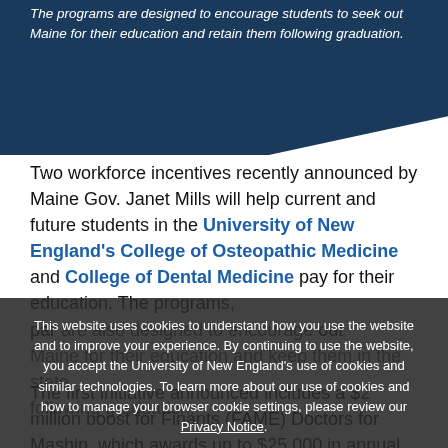[Figure (illustration): Dark navy blue banner/polygon shape with italic white text about programs designed to encourage students to seek out Maine for their education and retain them following graduation.]
Two workforce incentives recently announced by Maine Gov. Janet Mills will help current and future students in the University of New England's College of Osteopathic Medicine and College of Dental Medicine pay for their education. The programs, particularly designed to have doctors seek out rural areas in the state, are also designed to encourage students to seek out Maine for their education and keep them in the state following graduation.
This website uses cookies to understand how you use the website and to improve your experience. By continuing to use the website, you accept the University of New England's use of cookies and similar technologies. To learn more about our use of cookies and how to manage your browser cookie settings, please review our Privacy Notice.
ACCEPT
The first initiative announced includes a $2 million boost for Financial Authority of Maine's (FAME) Doctors for Maine scholarship, which awards up to $25,000 in annual scholarships to